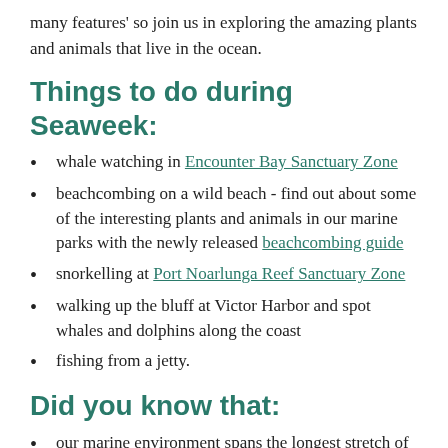many features' so join us in exploring the amazing plants and animals that live in the ocean.
Things to do during Seaweek:
whale watching in Encounter Bay Sanctuary Zone
beachcombing on a wild beach - find out about some of the interesting plants and animals in our marine parks with the newly released beachcombing guide
snorkelling at Port Noarlunga Reef Sanctuary Zone
walking up the bluff at Victor Harbor and spot whales and dolphins along the coast
fishing from a jetty.
Did you know that:
our marine environment spans the longest stretch of